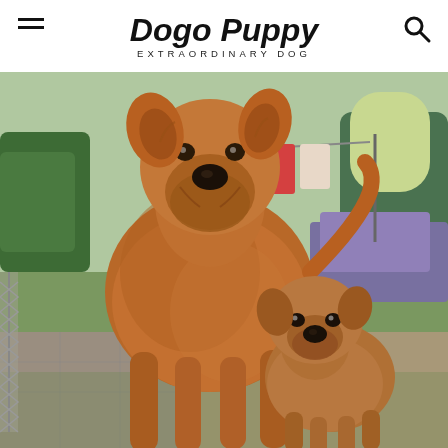Dogo Puppy — EXTRAORDINARY DOG
[Figure (photo): Two Irish Terrier dogs — a large adult and a small puppy — standing together in a garden with a clothesline, hedges, and flowering plants in the background.]